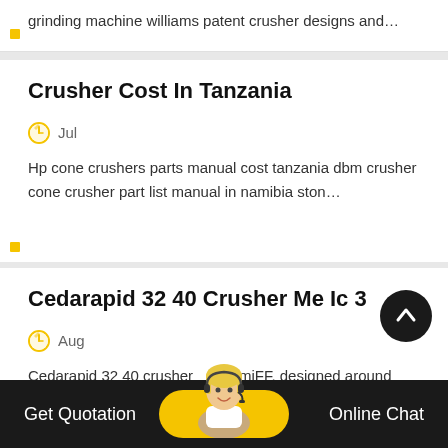grinding machine williams patent crusher designs and…
Crusher Cost In Tanzania
Jul
Hp cone crushers parts manual cost tanzania dbm crusher cone crusher part list manual in namibia ston…
Cedarapid 32 40 Crusher Me Ic 3
Aug
Cedarapid 32 40 crusher miFF, designed around
Get Quotation   Online Chat